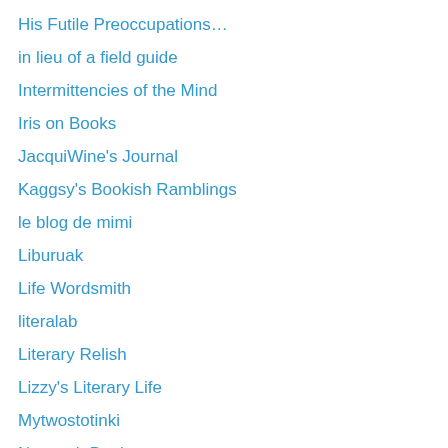His Futile Preoccupations…
in lieu of a field guide
Intermittencies of the Mind
Iris on Books
JacquiWine's Journal
Kaggsy's Bookish Ramblings
le blog de mimi
Liburuak
Life Wordsmith
literalab
Literary Relish
Lizzy's Literary Life
Mytwostotinki
Nonsuch Book
Obooki's Obloquy
Ordinary Reader
Pechorin's Journal
Polychrome Interest
Postcards From Asia
Raven Crime Reads